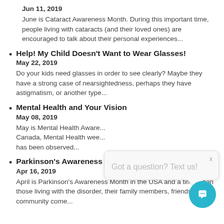Jun 11, 2019
June is Cataract Awareness Month. During this important time, people living with cataracts (and their loved ones) are encouraged to talk about their personal experiences...
Help! My Child Doesn't Want to Wear Glasses!
May 22, 2019
Do your kids need glasses in order to see clearly? Maybe they have a strong case of nearsightedness, perhaps they have astigmatism, or another type...
Mental Health and Your Vision
May 08, 2019
May is Mental Health Aware... Canada, Mental Health wee... has been observed...
Parkinson's Awareness Month and Your Vision
Apr 16, 2019
April is Parkinson's Awareness Month in the USA and a time when those living with the disorder, their family members, friends, and community come...
[Figure (screenshot): Chat widget overlay with text 'Got a question? Text us!' and a teal circular chat button icon at bottom right]